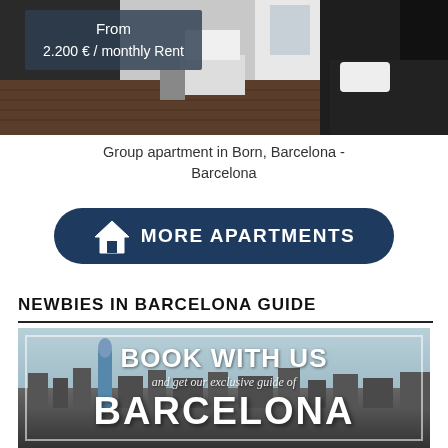[Figure (photo): Interior photo of a group apartment in Born, Barcelona showing a modern room with dark wooden floor, white walls, and minimalist furniture. Overlay text reads: From 2.200 € / monthly Rent]
Group apartment in Born, Barcelona - Barcelona
[Figure (other): Dark navy rounded button with house icon and text: MORE APARTMENTS]
NEWBIES IN BARCELONA GUIDE
[Figure (photo): Barcelona skyline/cityscape promotional image with overlay text: BOOK WITH US and get our exclusive guide of BARCELONA]